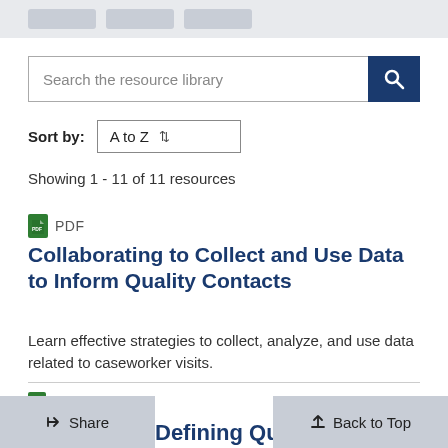[Figure (screenshot): Top banner with navigation pills in gray]
[Figure (screenshot): Search bar with text 'Search the resource library' and dark blue search button with magnifying glass icon]
Sort by: A to Z
Showing 1 - 11 of 11 resources
PDF
Collaborating to Collect and Use Data to Inform Quality Contacts
Learn effective strategies to collect, analyze, and use data related to caseworker visits.
Defining Quality Contacts